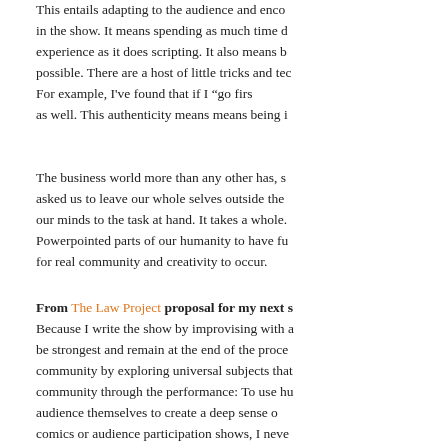This entails adapting to the audience and enco... in the show. It means spending as much time d... experience as it does scripting. It also means b... possible. There are a host of little tricks and tec... For example, I've found that if I "go firs... as well. This authenticity means means being i...
The business world more than any other has, s... asked us to leave our whole selves outside the... our minds to the task at hand. It takes a whole... Powerpointed parts of our humanity to have fu... for real community and creativity to occur.
From The Law Project proposal for my next s... Because I write the show by improvising with a... be strongest and remain at the end of the proce... community by exploring universal subjects that... community through the performance: To use hu... audience themselves to create a deep sense o... comics or audience participation shows, I neve... I create a space for them to shine.